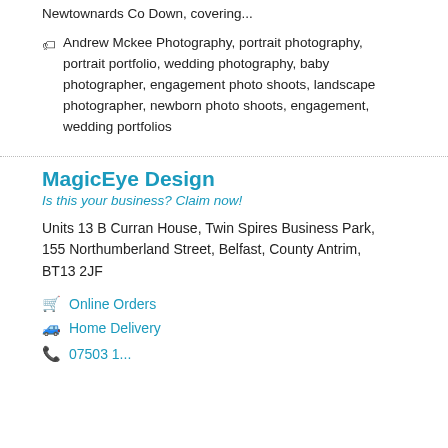Newtownards Co Down, covering...
Andrew Mckee Photography, portrait photography, portrait portfolio, wedding photography, baby photographer, engagement photo shoots, landscape photographer, newborn photo shoots, engagement, wedding portfolios
MagicEye Design
Is this your business? Claim now!
Units 13 B Curran House, Twin Spires Business Park, 155 Northumberland Street, Belfast, County Antrim, BT13 2JF
Online Orders
Home Delivery
07503 1...